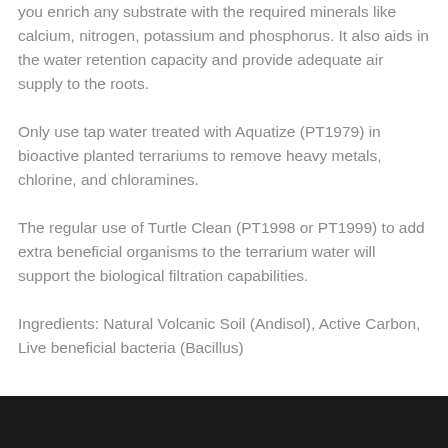you enrich any substrate with the required minerals like calcium, nitrogen, potassium and phosphorus. It also aids in the water retention capacity and provide adequate air supply to the roots.
Only use tap water treated with Aquatize (PT1979) in bioactive planted terrariums to remove heavy metals, chlorine, and chloramines.
The regular use of Turtle Clean (PT1998 or PT1999) to add extra beneficial organisms to the terrarium water will support the biological filtration capabilities.
Ingredients: Natural Volcanic Soil (Andisol), Active Carbon, Live beneficial bacteria (Bacillus)